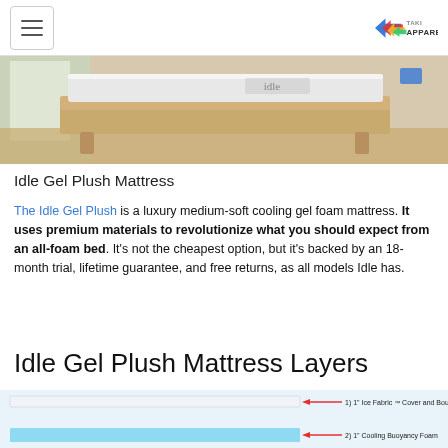[hamburger menu] [Taki Apparel logo]
[Figure (photo): Photo of Idle mattress on a wooden bed frame in a bright room with 'idle' branding visible]
Idle Gel Plush Mattress
The Idle Gel Plush is a luxury medium-soft cooling gel foam mattress. It uses premium materials to revolutionize what you should expect from an all-foam bed. It's not the cheapest option, but it's backed by an 18-month trial, lifetime guarantee, and free returns, as all models Idle has.
Idle Gel Plush Mattress Layers
[Figure (illustration): Diagram of mattress layers with red arrows pointing to: 1) 1" Ice Fabric™ Cover and Bouyancy Foam, 2) 1" Cooling Buoyancy Foam]